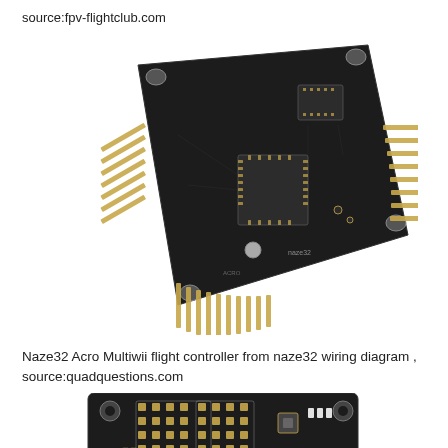source:fpv-flightclub.com
[Figure (photo): Naze32 Acro Multiwii flight controller board photographed at an angle, showing the PCB with gold header pins on bottom and right sides, integrated circuits, and mounting holes at corners. Black PCB with gold/cream colored components.]
Naze32 Acro Multiwii flight controller from naze32 wiring diagram , source:quadquestions.com
[Figure (photo): Bottom/front view of Naze32 flight controller PCB showing gold pads, connector pads in a grid layout, a button, and mounting holes, cropped at the bottom of the page.]